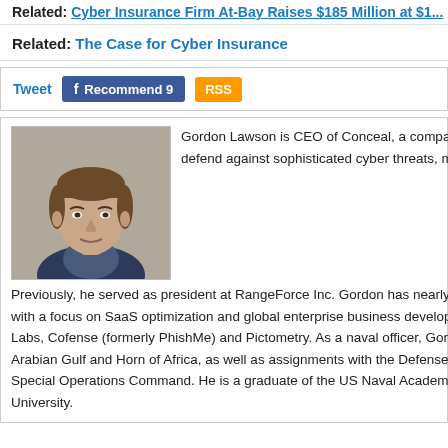Related: Cyber Insurance Firm At-Bay Raises $185 Million at $1...
Related: The Case for Cyber Insurance
Tweet  Recommend 9  RSS
[Figure (photo): Headshot photo of Gordon Lawson, CEO of Conceal]
Gordon Lawson is CEO of Conceal, a company that uses Zero Trust isolation technology to defend against sophisticated cyber threats, malware and ransomware at the edge. Previously, he served as president at RangeForce Inc. Gordon has nearly two decades of experience in the security sector with a focus on SaaS optimization and global enterprise business development from global companies including Reversing Labs, Cofense (formerly PhishMe) and Pictometry. As a naval officer, Gordon conducted operational deployments to the Arabian Gulf and Horn of Africa, as well as assignments with the Defense Intelligence Agency, US Marine Corps, and Special Operations Command. He is a graduate of the US Naval Academy and holds an MBA from George Washington University.
Previous Columns
The Future of CyberSec...
Is an Infrastructure War...
For Smaller Enterprises...
Healthcare and the Othe...
Universities Should Pre...